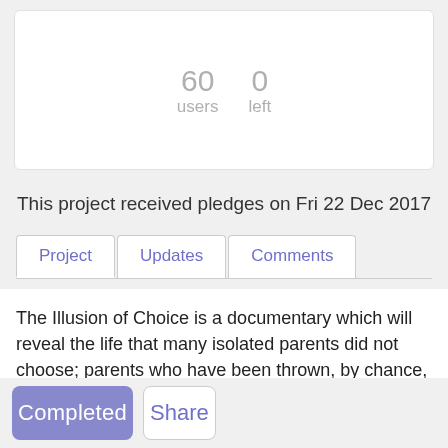60 users
0 left
This project received pledges on Fri 22 Dec 2017
Project | Updates | Comments
The Illusion of Choice is a documentary which will reveal the life that many isolated parents did not choose; parents who have been thrown, by chance, into the gauntlet of caring for a profoundly disabled child. This film will explore...
Completed
Share